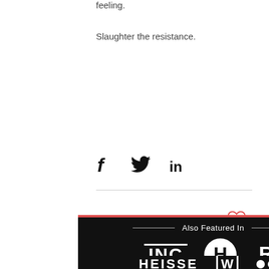feeling.
Slaughter the resistance.
[Figure (infographic): Social share icons: Facebook (f), Twitter (bird), LinkedIn (in)]
[Figure (infographic): Heart/like icon (red outline)]
[Figure (infographic): Also Featured In banner with INC, H (circle), R logos and HEISSE, W (box), dots logos on black background with red top stripe]